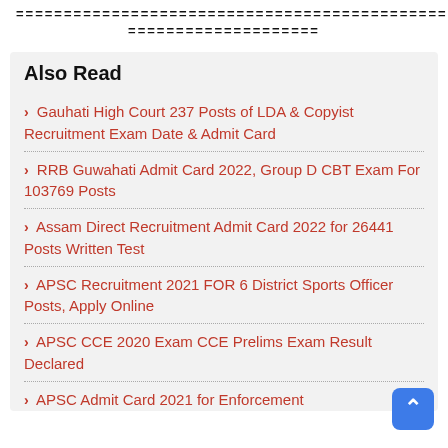=============================================
===================
Also Read
Gauhati High Court 237 Posts of LDA & Copyist Recruitment Exam Date & Admit Card
RRB Guwahati Admit Card 2022, Group D CBT Exam For 103769 Posts
Assam Direct Recruitment Admit Card 2022 for 26441 Posts Written Test
APSC Recruitment 2021 FOR 6 District Sports Officer Posts, Apply Online
APSC CCE 2020 Exam CCE Prelims Exam Result Declared
APSC Admit Card 2021 for Enforcement